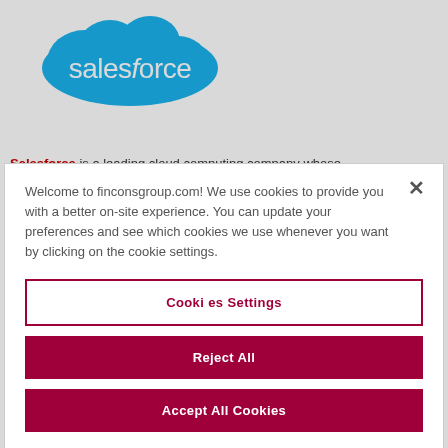[Figure (logo): Salesforce logo - blue cloud shape with white 'salesforce' text]
Salesforce is a leading cloud computing company whose
Welcome to finconsgroup.com! We use cookies to provide you with a better on-site experience. You can update your preferences and see which cookies we use whenever you want by clicking on the cookie settings.
Cookies Settings
Reject All
Accept All Cookies